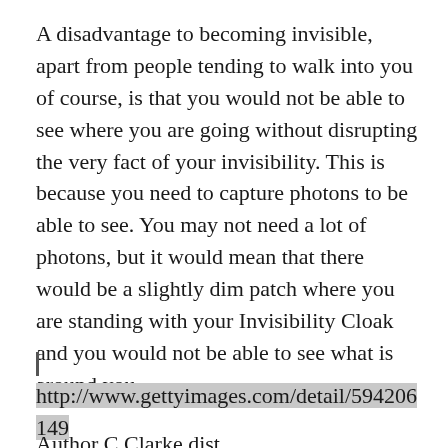A disadvantage to becoming invisible, apart from people tending to walk into you of course, is that you would not be able to see where you are going without disrupting the very fact of your invisibility. This is because you need to capture photons to be able to see. You may not need a lot of photons, but it would mean that there would be a slightly dim patch where you are standing with your Invisibility Cloak and you would not be able to see what is around you.
http://www.gettyimages.com/detail/594206149
Author C Clarke dist...